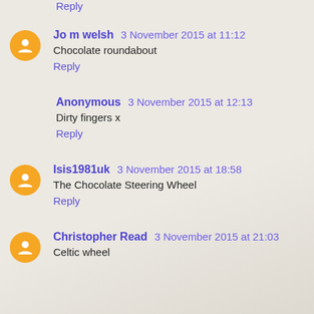Reply
Jo m welsh  3 November 2015 at 11:12
Chocolate roundabout
Reply
Anonymous  3 November 2015 at 12:13
Dirty fingers x
Reply
Isis1981uk  3 November 2015 at 18:58
The Chocolate Steering Wheel
Reply
Christopher Read  3 November 2015 at 21:03
Celtic wheel